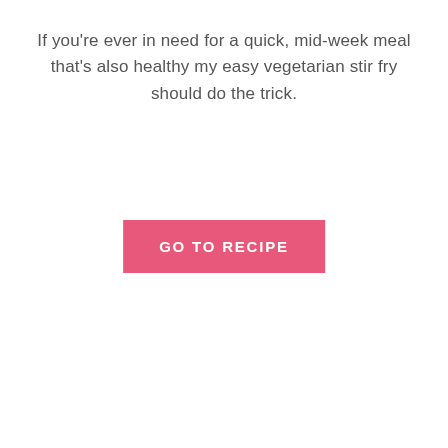If you're ever in need for a quick, mid-week meal that's also healthy my easy vegetarian stir fry should do the trick.
GO TO RECIPE